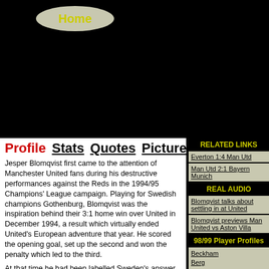[Figure (other): Home navigation button — oval/ellipse shape with beige/grey background and yellow 'Home' text]
Profile  Stats  Quotes  Pictures
Jesper Blomqvist first came to the attention of Manchester United fans during his destructive performances against the Reds in the 1994/95 Champions' League campaign. Playing for Swedish champions Gothenburg, Blomqvist was the inspiration behind their 3:1 home win over United in December 1994, a result which virtually ended United's European adventure that year. He scored the opening goal, set up the second and won the penalty which led to the third.

At that time he had been labelled Sweden's answer to Ryan Giggs so it was ironic that four years later both players were to be fighting it out for the wide left position in the United lineup. It was this very fact that nearly called a halt to his transfer from Parma in July 1998 when Jesper proclaimed that he did not want to play second
RELATED LINKS
Everton 1:4 Man Utd
Man Utd 2:1 Bayern Munich
REAL AUDIO
Blomqvist talks about settling in at United
Blomqvist previews Man United vs Aston Villa
98/99 Player Profiles
Beckham
Berg
Blomqvist
Brown
Butt
Cole
Cruyff
Giggs
Irwin